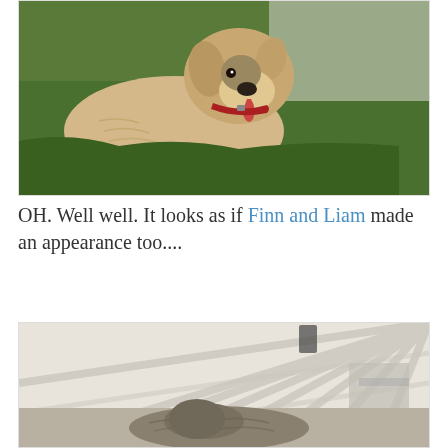[Figure (photo): A large light-colored Irish Wolfhound dog with a red collar, tongue out, standing on grass.]
OH. Well well. It looks as if Finn and Liam made an appearance too....
[Figure (photo): A dog lying down on a surface near white siding of a house, viewed from above.]